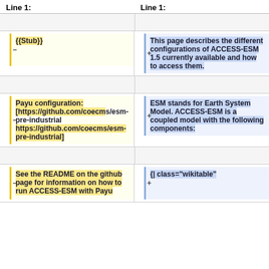Line 1:	Line 1:
{{Stub}}
This page describes the different configurations of ACCESS-ESM 1.5 currently available and how to access them.
Payu configuration: [https://github.com/coecms/esm-pre-industrial https://github.com/coecms/esm-pre-industrial]
ESM stands for Earth System Model. ACCESS-ESM is a coupled model with the following components:
See the README on the github page for information on how to run ACCESS-ESM with Payu
{| class="wikitable"